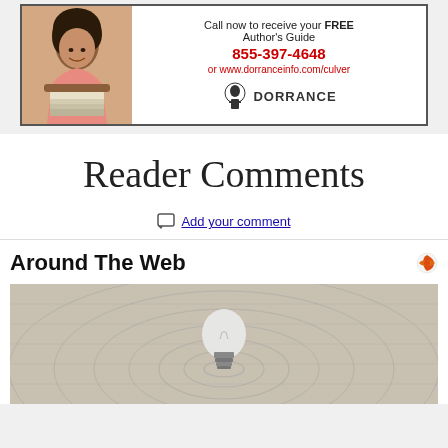[Figure (photo): Advertisement for Dorrance Publishing showing a woman resting her chin on a stack of books, with text 'Call now to receive your FREE Author's Guide', phone number 855-397-4648, website www.dorranceinfo.com/culver, and Dorrance Publishing logo]
Reader Comments
Add your comment
Around The Web
[Figure (photo): Close-up photo of a light bulb lying on a textured fabric surface with concentric circular patterns]